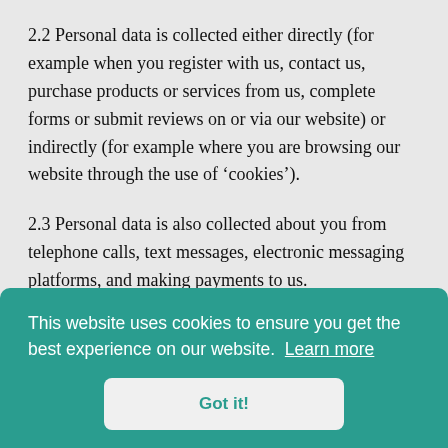2.2 Personal data is collected either directly (for example when you register with us, contact us, purchase products or services from us, complete forms or submit reviews on or via our website) or indirectly (for example where you are browsing our website through the use of ‘cookies’).
2.3 Personal data is also collected about you from telephone calls, text messages, electronic messaging platforms, and making payments to us.
2.4 The personal data we receive and process is
[Figure (screenshot): Cookie consent banner overlay in teal/green color. Text reads: 'This website uses cookies to ensure you get the best experience on our website. Learn more' with a 'Got it!' button.]